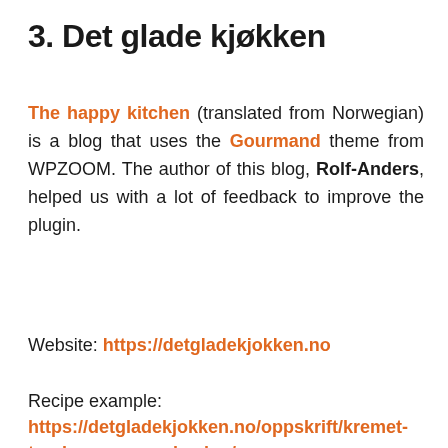3. Det glade kjøkken
The happy kitchen (translated from Norwegian) is a blog that uses the Gourmand theme from WPZOOM. The author of this blog, Rolf-Anders, helped us with a lot of feedback to improve the plugin.
Website: https://detgladekjokken.no
Recipe example: https://detgladekjokken.no/oppskrift/kremet-torskepanne-med-cajun/